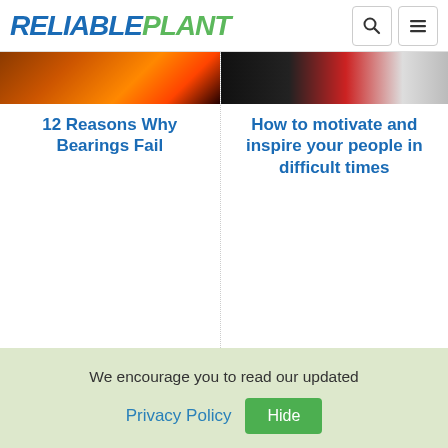RELIABLEPLANT
[Figure (photo): Fire/sparks image for bearings article]
12 Reasons Why Bearings Fail
[Figure (photo): Person in red shirt for motivation article]
How to motivate and inspire your people in difficult times
PLANNING AND SCHEDULING
LOCKOUT-TAGOUT
We encourage you to read our updated Privacy Policy  Hide
Outage
(LOTO)